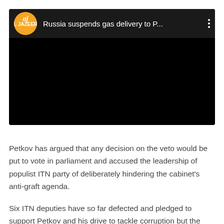[Figure (screenshot): Al Jazeera YouTube video embed with black thumbnail. Header shows Al Jazeera orange circular logo on left, video title 'Russia suspends gas delivery to P...' in white text, and three-dot menu icon on right. Main area is black.]
Petkov has argued that any decision on the veto would be put to vote in parliament and accused the leadership of populist ITN party of deliberately hindering the cabinet's anti-graft agenda.
Six ITN deputies have so far defected and pledged to support Petkov and his drive to tackle corruption but the government still stands six votes shy of the 121 majority absolute.